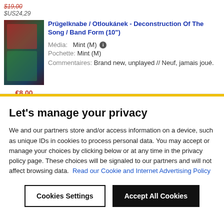$US24,29
Prügelknabe / Otloukánek - Deconstruction Of The Song / Band Form (10")
Média: Mint (M) | Pochette: Mint (M) | Commentaires: Brand new, unplayed // Neuf, jamais joué.
€8,00
$US22,29
Let's manage your privacy
We and our partners store and/or access information on a device, such as unique IDs in cookies to process personal data. You may accept or manage your choices by clicking below or at any time in the privacy policy page. These choices will be signaled to our partners and will not affect browsing data. Read our Cookie and Internet Advertising Policy
Cookies Settings
Accept All Cookies